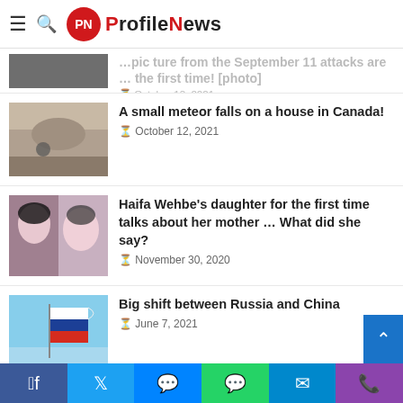ProfileNews
…pic ture from the September 11 attacks and … the first time! [photo]
October 13, 2021
A small meteor falls on a house in Canada!
October 12, 2021
Haifa Wehbe's daughter for the first time talks about her mother ... What did she say?
November 30, 2020
Big shift between Russia and China
June 7, 2021
The Trump administration informs Congress about the F-35 fighter deal with the UAE